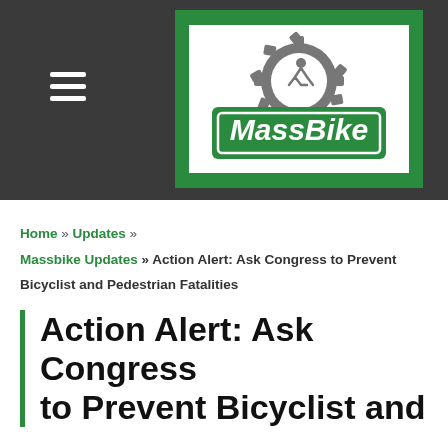[Figure (logo): MassBike logo: green background with a gear/cog shape containing a cyclist silhouette at top, and a green road-sign-style rectangle with white italic text 'MassBike']
Home » Updates » Massbike Updates » Action Alert: Ask Congress to Prevent Bicyclist and Pedestrian Fatalities
Action Alert: Ask Congress to Prevent Bicyclist and